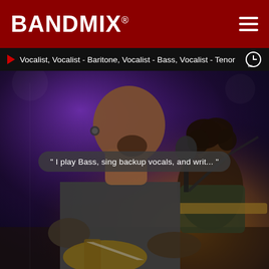BANDMIX®
Vocalist, Vocalist - Baritone, Vocalist - Bass, Vocalist - Tenor
[Figure (photo): Concert stage photo showing two musicians performing live. The foreground musician, with a shaved head and ear gauges, is singing intensely into a microphone while playing bass guitar. A second musician with curly dark hair is visible in the background on the right, also playing guitar. The lighting is dramatic with purple and warm amber tones.]
" I play Bass, sing backup vocals, and writ... "